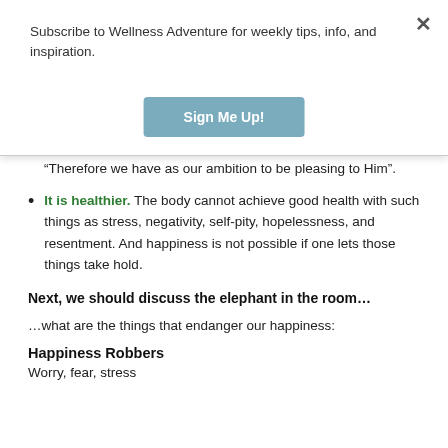Subscribe to Wellness Adventure for weekly tips, info, and inspiration.
[Figure (other): Sign Me Up! button - a blue-grey rounded rectangle button with white bold text]
“Therefore we have as our ambition to be pleasing to Him”.
It is healthier. The body cannot achieve good health with such things as stress, negativity, self-pity, hopelessness, and resentment. And happiness is not possible if one lets those things take hold.
Next, we should discuss the elephant in the room…
…what are the things that endanger our happiness:
Happiness Robbers
Worry, fear, stress